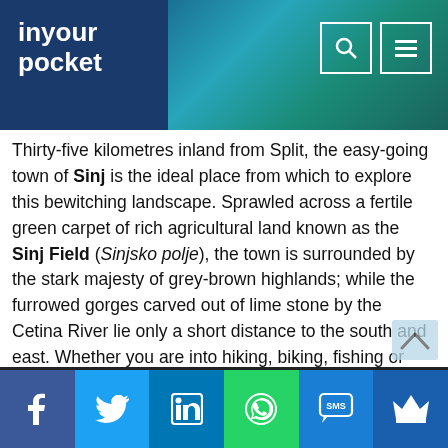in your pocket
Thirty-five kilometres inland from Split, the easy-going town of Sinj is the ideal place from which to explore this bewitching landscape. Sprawled across a fertile green carpet of rich agricultural land known as the Sinj Field (Sinjsko polje), the town is surrounded by the stark majesty of grey-brown highlands; while the furrowed gorges carved out of lime stone by the Cetina River lie only a short distance to the south and east. Whether you are into hiking, biking, fishing or simply looking, it’s an exhilarating place to be.
Sinj is also a town of immense historical symbolism. It owes its central place in the national narrative to the heroic